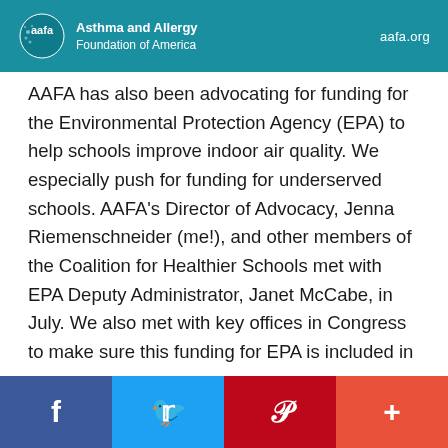Asthma and Allergy Foundation of America — aafa.org
AAFA has also been advocating for funding for the Environmental Protection Agency (EPA) to help schools improve indoor air quality. We especially push for funding for underserved schools. AAFA's Director of Advocacy, Jenna Riemenschneider (me!), and other members of the Coalition for Healthier Schools met with EPA Deputy Administrator, Janet McCabe, in July. We also met with key offices in Congress to make sure this funding for EPA is included in the Build Back Better Act (BBBA).
On Nov. 20, the House of Representatives passed the BBBA. Thanks to AAFA's advocacy efforts, $50 million was included for the EPA to address air quality in public schools